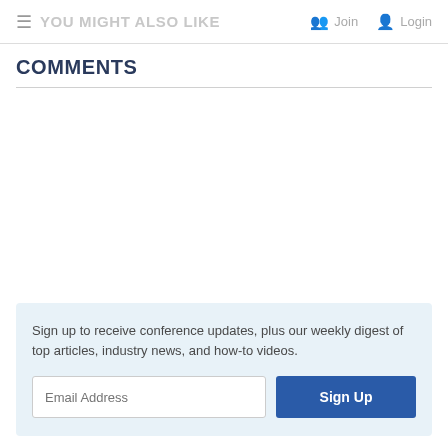YOU MIGHT ALSO LIKE   Join   Login
COMMENTS
Sign up to receive conference updates, plus our weekly digest of top articles, industry news, and how-to videos.